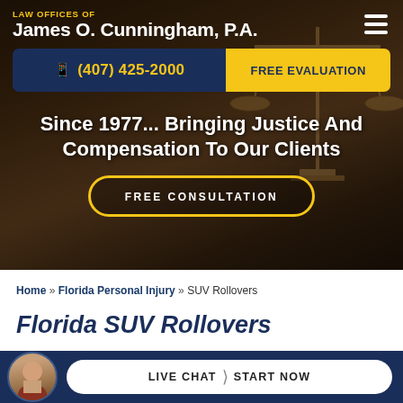[Figure (screenshot): Law office website hero section with dark brown background showing scales of justice, navigation bar with logo, phone number CTA bar, slogan text, and free consultation button]
LAW OFFICES OF James O. Cunningham, P.A.
(407) 425-2000
FREE EVALUATION
Since 1977... Bringing Justice And Compensation To Our Clients
FREE CONSULTATION
Home » Florida Personal Injury » SUV Rollovers
Florida SUV Rollovers
Sport
LIVE CHAT  START NOW